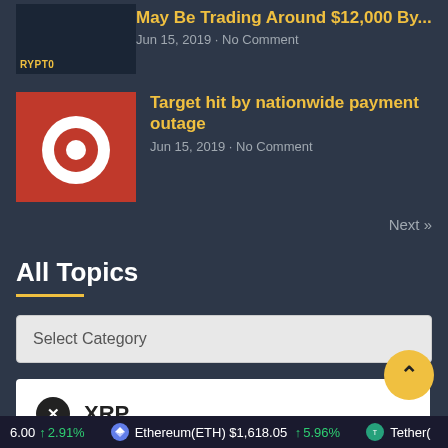May Be Trading Around $12,000 By... Jun 15, 2019 · No Comment
Target hit by nationwide payment outage Jun 15, 2019 · No Comment
Next »
All Topics
Select Category
XRP
6.00 ↑ 2.91% Ethereum(ETH) $1,618.05 ↑ 5.96% Tether(